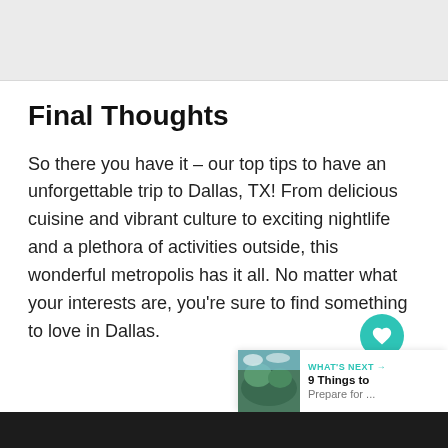[Figure (photo): Light grey placeholder image area at the top of the page]
Final Thoughts
So there you have it – our top tips to have an unforgettable trip to Dallas, TX! From delicious cuisine and vibrant culture to exciting nightlife and a plethora of activities outside, this wonderful metropolis has it all. No matter what your interests are, you're sure to find something to love in Dallas.
[Figure (screenshot): WHAT'S NEXT banner with a nature thumbnail image and text '9 Things to Prepare for...']